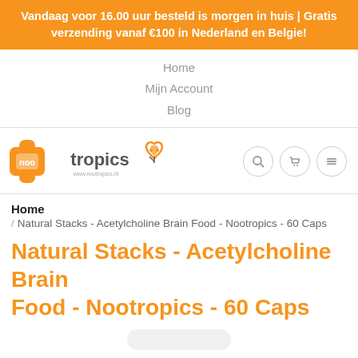Vandaag voor 16.00 uur besteld is morgen in huis | Gratis verzending vanaf €100 in Nederland en Belgie!
Home
Mijn Account
Blog
[Figure (logo): Nootropics logo with orange cross and orange heart-leaf icon]
Home
/ Natural Stacks - Acetylcholine Brain Food - Nootropics - 60 Caps
Natural Stacks - Acetylcholine Brain Food - Nootropics - 60 Caps